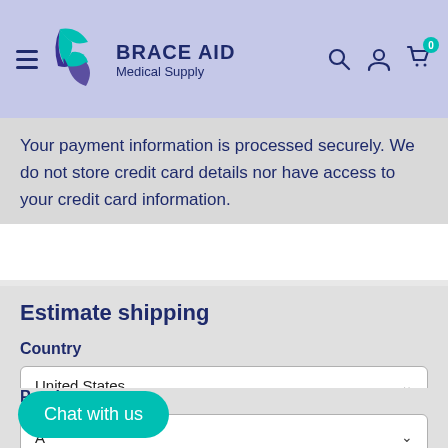BRACE AID Medical Supply
Your payment information is processed securely. We do not store credit card details nor have access to your credit card information.
Estimate shipping
Country
United States
Province
A